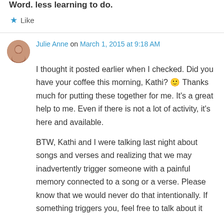Word. Less learning to do.
★ Like
Julie Anne on March 1, 2015 at 9:18 AM
I thought it posted earlier when I checked. Did you have your coffee this morning, Kathi? 🙂 Thanks much for putting these together for me. It's a great help to me. Even if there is not a lot of activity, it's here and available.
BTW, Kathi and I were talking last night about songs and verses and realizing that we may inadvertently trigger someone with a painful memory connected to a song or a verse. Please know that we would never do that intentionally. If something triggers you, feel free to talk about it